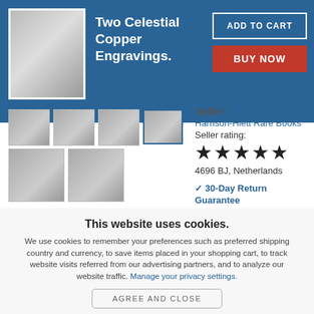Two Celestial Copper Engravings.
ADD TO CART
BUY NOW
Seller:
Harrison-Hiett Rare Books
Seller rating:
★★★★★
4696 BJ, Netherlands
✓ 30-Day Return Guarantee
This website uses cookies.
We use cookies to remember your preferences such as preferred shipping country and currency, to save items placed in your shopping cart, to track website visits referred from our advertising partners, and to analyze our website traffic. Manage your privacy settings.
AGREE AND CLOSE